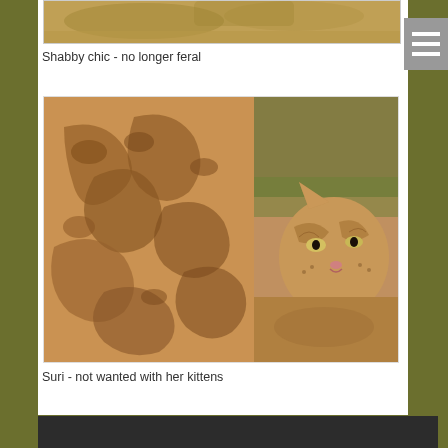[Figure (photo): Top portion of a cat photo, cropped at top of page, showing sandy/golden fur tones]
Shabby chic - no longer feral
[Figure (photo): Close-up photo of a spotted/marbled tabby cat (Bengal or similar breed) showing detailed coat markings in brown and tan, with the cat's face visible on the right side]
Suri - not wanted with her kittens